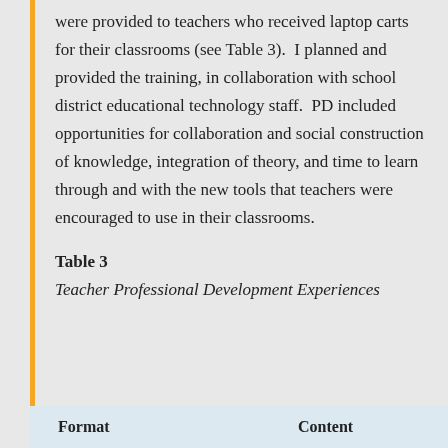were provided to teachers who received laptop carts for their classrooms (see Table 3).  I planned and provided the training, in collaboration with school district educational technology staff.  PD included opportunities for collaboration and social construction of knowledge, integration of theory, and time to learn through and with the new tools that teachers were encouraged to use in their classrooms.
Table 3
Teacher Professional Development Experiences
| Format | Content |
| --- | --- |